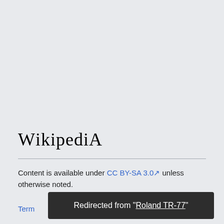Wikipedia
Content is available under CC BY-SA 3.0 unless otherwise noted.
Terms of Use
Redirected from "Roland TR-77"